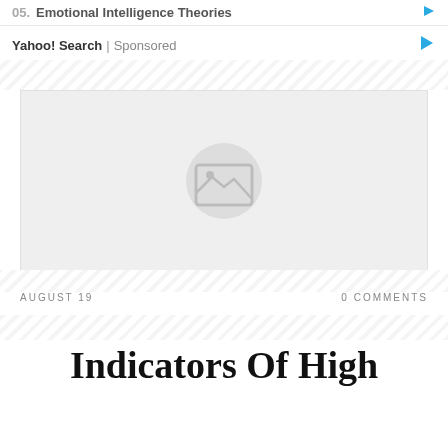05. Emotional Intelligence Theories
Yahoo! Search | Sponsored
[Figure (photo): Placeholder image thumbnail with mountain/landscape icon on grey background]
AUGUST 19
0 COMMENTS
Indicators Of High